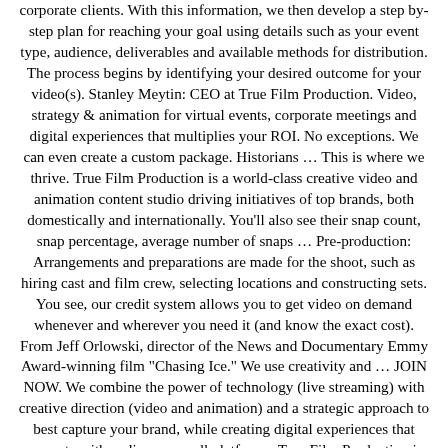corporate clients. With this information, we then develop a step by-step plan for reaching your goal using details such as your event type, audience, deliverables and available methods for distribution. The process begins by identifying your desired outcome for your video(s). Stanley Meytin: CEO at True Film Production. Video, strategy & animation for virtual events, corporate meetings and digital experiences that multiplies your ROI. No exceptions. We can even create a custom package. Historians … This is where we thrive. True Film Production is a world-class creative video and animation content studio driving initiatives of top brands, both domestically and internationally. You'll also see their snap count, snap percentage, average number of snaps … Pre-production: Arrangements and preparations are made for the shoot, such as hiring cast and film crew, selecting locations and constructing sets. You see, our credit system allows you to get video on demand whenever and wherever you need it (and know the exact cost). From Jeff Orlowski, director of the News and Documentary Emmy Award-winning film "Chasing Ice." We use creativity and … JOIN NOW. We combine the power of technology (live streaming) with creative direction (video and animation) and a strategic approach to best capture your brand, while creating digital experiences that resonate with audiences on all platforms. True Film Production is an innovative team of video production experts specializing in a wide range of video services from corporate video production and branded content videos to motion graphics and animation. You end up with a final product